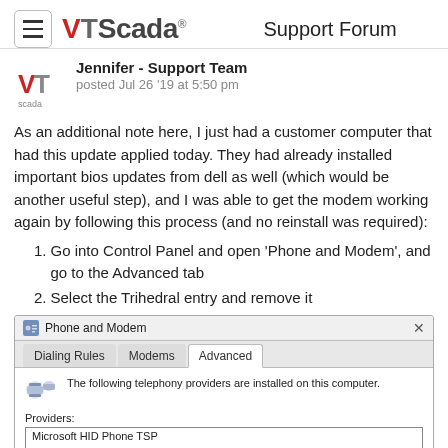VTScada Support Forum
Jennifer - Support Team
posted Jul 26 '19 at 5:50 pm
As an additional note here, I just had a customer computer that had this update applied today. They had already installed important bios updates from dell as well (which would be another useful step), and I was able to get the modem working again by following this process (and no reinstall was required):
1. Go into Control Panel and open 'Phone and Modem', and go to the Advanced tab
2. Select the Trihedral entry and remove it
[Figure (screenshot): Screenshot of the Windows 'Phone and Modem' dialog, Advanced tab. Shows a list of telephony providers: Microsoft HID Phone TSP, TAPI Kernel-Mode Service Provider, Trihedral Voice Modem Service Provider (selected/highlighted in blue), Unimodem 5 Service Provider.]